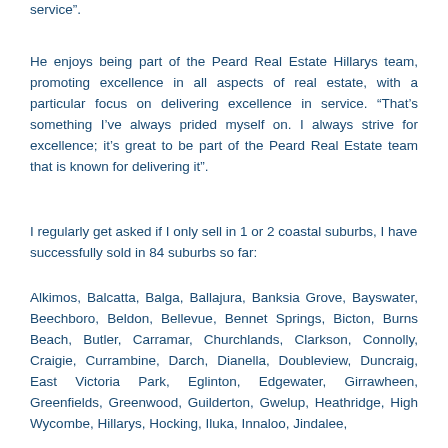service”.
He enjoys being part of the Peard Real Estate Hillarys team, promoting excellence in all aspects of real estate, with a particular focus on delivering excellence in service. “That’s something I’ve always prided myself on. I always strive for excellence; it’s great to be part of the Peard Real Estate team that is known for delivering it”.
I regularly get asked if I only sell in 1 or 2 coastal suburbs, I have successfully sold in 84 suburbs so far:
Alkimos, Balcatta, Balga, Ballajura, Banksia Grove, Bayswater, Beechboro, Beldon, Bellevue, Bennet Springs, Bicton, Burns Beach, Butler, Carramar, Churchlands, Clarkson, Connolly, Craigie, Currambine, Darch, Dianella, Doubleview, Duncraig, East Victoria Park, Eglinton, Edgewater, Girrawheen, Greenfields, Greenwood, Guilderton, Gwelup, Heathridge, High Wycombe, Hillarys, Hocking, Iluka, Innaloo, Jindalee,